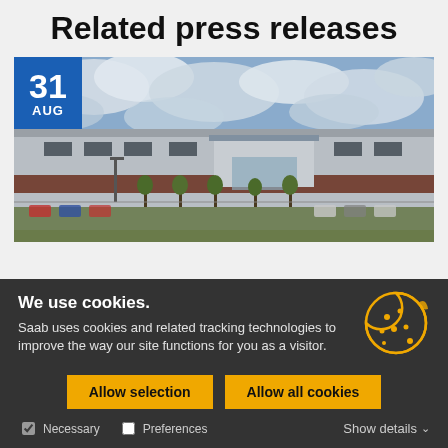Related press releases
[Figure (photo): A large modern industrial or logistics building with a flat roof, dark window strips, and a main entrance canopy. Parked cars and trees visible in the foreground. Cloudy sky. Date badge overlay: 31 AUG in blue.]
We use cookies.
Saab uses cookies and related tracking technologies to improve the way our site functions for you as a visitor.
Allow selection
Allow all cookies
Necessary
Preferences
Show details